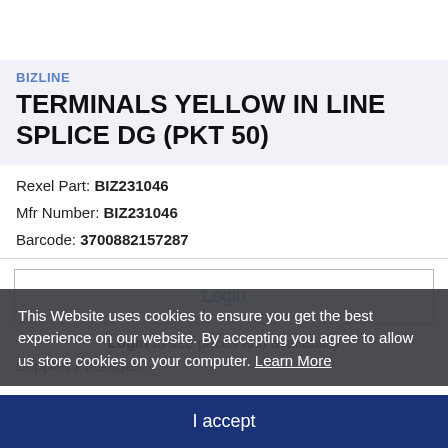BIZLINE
TERMINALS YELLOW IN LINE SPLICE DG (PKT 50)
Rexel Part: BIZ231046
Mfr Number: BIZ231046
Barcode: 3700882157287
Login
Login to see prices and availability
Supplier Packages :
This Website uses cookies to ensure you get the best experience on our website. By accepting you agree to allow us store cookies on your computer. Learn More
I accept